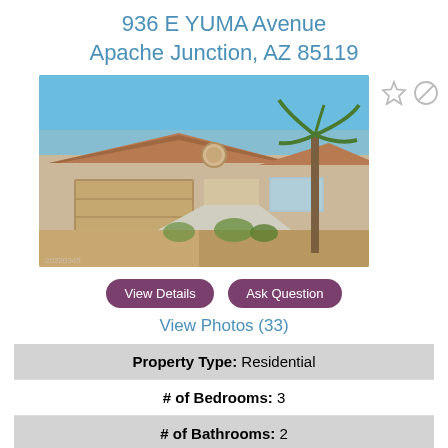936 E YUMA Avenue
Apache Junction, AZ 85119
[Figure (photo): Exterior photo of a single-story residential home with a two-car garage, desert landscaping, palm tree, and blue sky background. Small watermark text visible at bottom left.]
View Details
Ask Question
View Photos (33)
| Property Type: Residential |
| # of Bedrooms: 3 |
| # of Bathrooms: 2 |